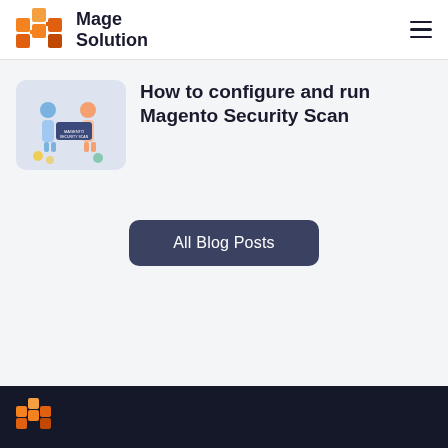Mage Solution
[Figure (illustration): Illustration of two people with security scan graphic and 'Magento Security Scan' label]
How to configure and run Magento Security Scan
All Blog Posts